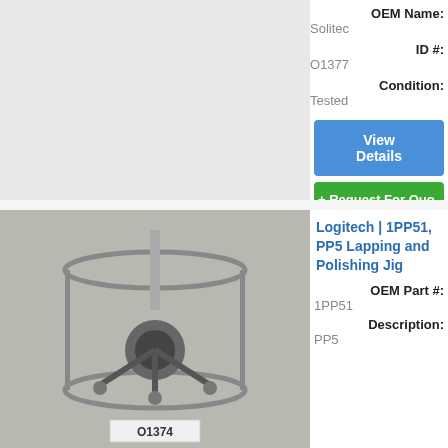OEM Name:
Solitec
ID #:
O1377
Condition:
Tested
View Details
+ Request For Quote
[Figure (photo): Logitech 1PP51 PP5 Lapping and Polishing Jig - cylindrical metal jig with central mechanism, label O1374]
Logitech | 1PP51, PP5 Lapping and Polishing Jig
OEM Part #:
1PP51
Description:
PP5